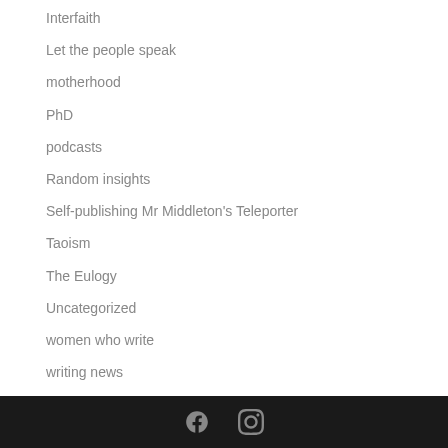Interfaith
Let the people speak
motherhood
PhD
podcasts
Random insights
Self-publishing Mr Middleton's Teleporter
Taoism
The Eulogy
Uncategorized
women who write
writing news
Facebook and Instagram social icons